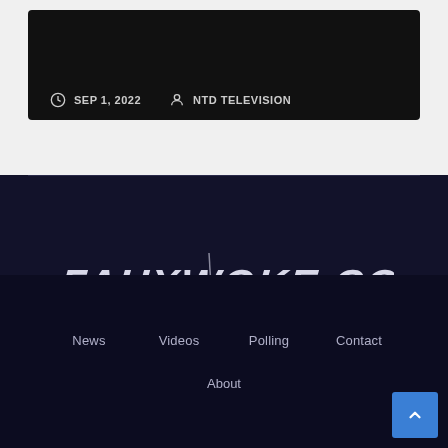SEP 1, 2022   NTD TELEVISION
[Figure (logo): FAUXWOKE.COM logo in stylized brush-script italic white text on dark navy background]
News   Videos   Polling   Contact   About